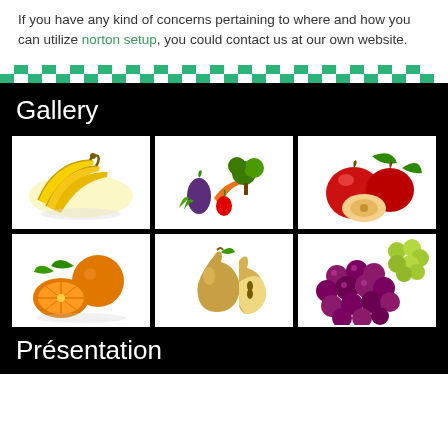If you have any kind of concerns pertaining to where and how you can utilize norton setup, you could contact us at our own website.
[Figure (illustration): Decorative checkerboard/stripe divider bar in green and white]
Gallery
[Figure (photo): Photo of yellow bananas]
[Figure (photo): Photo of assorted vegetables]
[Figure (photo): Photo of red apples]
[Figure (photo): Photo of oranges, one cut in half]
[Figure (photo): Photo of pears, one cut in half]
[Figure (photo): Photo of green and red grapes]
Présentation